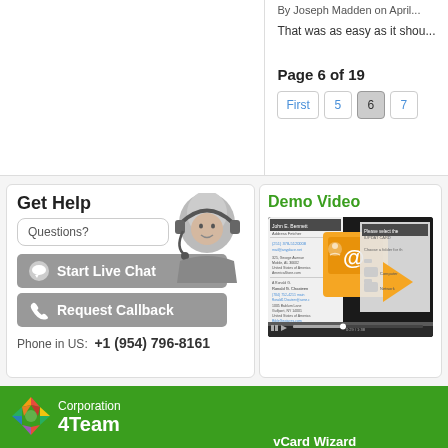By Joseph Madden on April...
That was as easy as it shou...
Page 6 of 19
First 5 6 7
Get Help
Questions?
feedback
Start Live Chat
Request Callback
Phone in US:  +1 (954) 796-8161
Demo Video
[Figure (screenshot): Demo video thumbnail showing a software interface screenshot]
[Figure (logo): 4Team Corporation logo with colored pinwheel icon]
Corporation
4Team
vCard Wizard